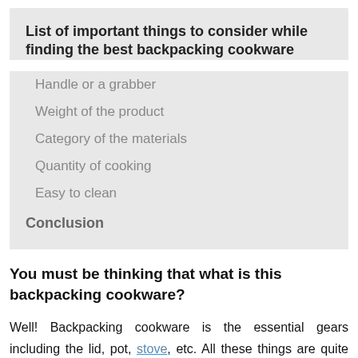List of important things to consider while finding the best backpacking cookware
Handle or a grabber
Weight of the product
Category of the materials
Quantity of cooking
Easy to clean
Conclusion
You must be thinking that what is this backpacking cookware?
Well! Backpacking cookware is the essential gears including the lid, pot, stove, etc. All these things are quite important if you want to enjoy your journey to the fullest by cooking your food on your own. You can boil water for your coffee, or you can